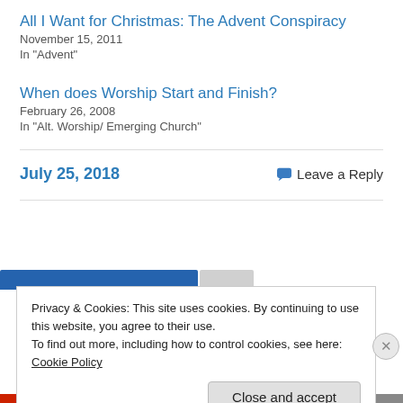All I Want for Christmas: The Advent Conspiracy
November 15, 2011
In "Advent"
When does Worship Start and Finish?
February 26, 2008
In "Alt. Worship/ Emerging Church"
July 25, 2018
Leave a Reply
Privacy & Cookies: This site uses cookies. By continuing to use this website, you agree to their use.
To find out more, including how to control cookies, see here: Cookie Policy
Close and accept